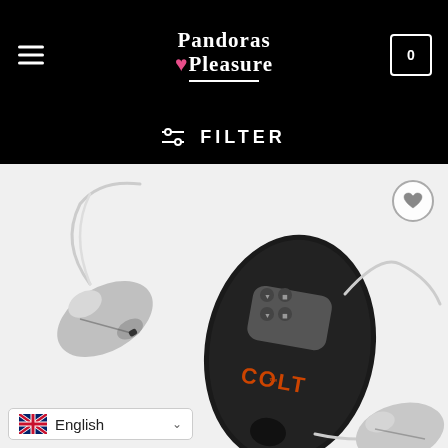Pandoras Pleasure — Navigation header with hamburger menu and cart icon
⚙ FILTER
[Figure (photo): Product photo of a COLT branded dual bullet vibrator set — black remote controller with grey control buttons and orange COLT logo, connected by clear wire to two silver metallic bullet-shaped vibrators on a white background. A circular wishlist/heart icon is visible in the upper-right of the image.]
English